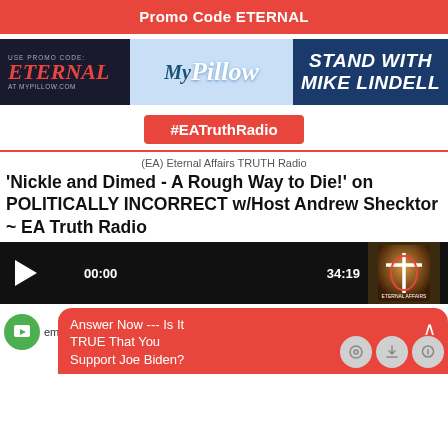Promo Code ETERNAL
[Figure (photo): MyPillow advertisement banner with 'USE PROMO CODE: ETERNAL at mypillow.com' on left dark panel, MyPillow cloud logo in center, and 'STAND WITH MIKE LINDELL' on right dark blue panel]
#EATruthRadio
(EA) Eternal Affairs TRUTH Radio
'Nickle and Dimed - A Rough Way to Die!' on POLITICALLY INCORRECT w/Host Andrew Shecktor ~ EA Truth Radio
[Figure (screenshot): Audio player with play button, timestamp 00:00, total duration 34:19, and Eternal Affairs logo thumbnail]
ember 02, 2
[Figure (infographic): Red notification popup with text 'Answer Now --- Is It TRUE That You Support Joe Biden?' with chevron icon, overlaid on bottom of page along with circular icon buttons]